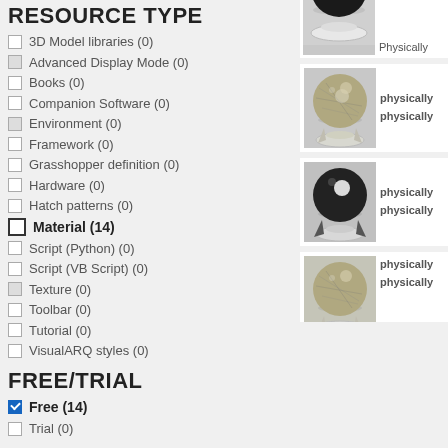RESOURCE TYPE
3D Model libraries (0)
Advanced Display Mode (0)
Books (0)
Companion Software (0)
Environment (0)
Framework (0)
Grasshopper definition (0)
Hardware (0)
Hatch patterns (0)
Material (14)
Script (Python) (0)
Script (VB Script) (0)
Texture (0)
Toolbar (0)
Tutorial (0)
VisualARQ styles (0)
FREE/TRIAL
Free (14)
Trial (0)
[Figure (screenshot): 3D render of a black billiard ball on a white stand - partially cropped at top]
[Figure (screenshot): 3D render of a textured stone/concrete sphere on a stand - labeled 'physically physically']
[Figure (screenshot): 3D render of a dark/black sphere on a stand - labeled 'physically physically']
[Figure (screenshot): 3D render of a textured stone/concrete sphere on a stand - labeled 'physically physically', partially cropped at bottom]